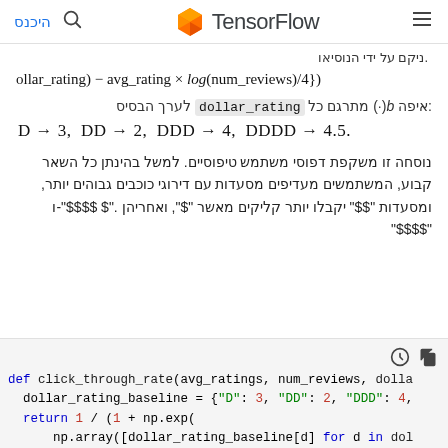היכנס | TensorFlow
ניקם על ידי הנוסיאו.
איפה b(·) מתרגם כל dollar_rating לערך הבסיס:
נוסחה זו משקפת דפוסי משתמש טיפוסיים. למשל בהינתן כל השאר קבוע, המשתמשים מעדיפים מסעדות עם דירוגי כוכבים גבוהים יותר, ומסעדות "$$" יקבלו יותר קליקים מאשר "$", ואחריהן "$$$" ו-"$$$$ $".
[Figure (screenshot): Python code block showing def click_through_rate function with dollar_rating_baseline dict and return statement using np.exp]